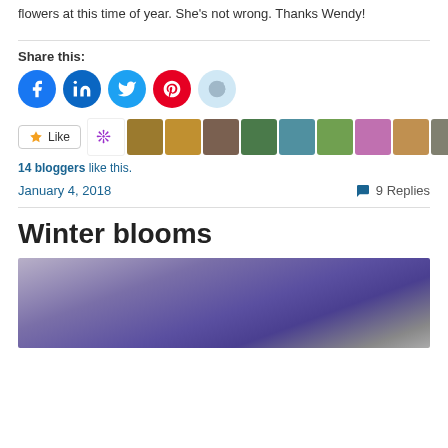flowers at this time of year. She's not wrong. Thanks Wendy!
Share this:
[Figure (other): Social sharing icons: Facebook, LinkedIn, Twitter, Pinterest, Reddit]
[Figure (other): Like button and blogger avatar thumbnails row: 14 bloggers like this.]
14 bloggers like this.
January 4, 2018    💬 9 Replies
Winter blooms
[Figure (photo): Close-up photo of a purple flower blossom on a wooden surface with green foliage]